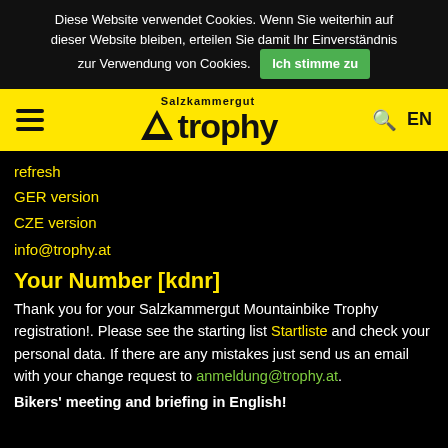Diese Website verwendet Cookies. Wenn Sie weiterhin auf dieser Website bleiben, erteilen Sie damit Ihr Einverständnis zur Verwendung von Cookies. Ich stimme zu
[Figure (logo): Salzkammergut Trophy logo with hamburger menu, trophy mountain bike logo, search icon and EN language selector on yellow background]
refresh
GER version
CZE version
info@trophy.at
Your Number [kdnr]
Thank you for your Salzkammergut Mountainbike Trophy registration!. Please see the starting list Startliste and check your personal data. If there are any mistakes just send us an email with your change request to anmeldung@trophy.at.
Bikers' meeting and briefing in English!